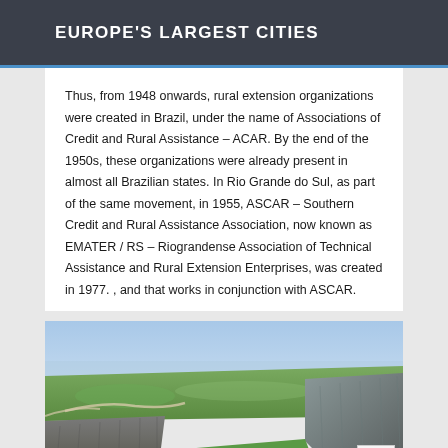EUROPE'S LARGEST CITIES
Thus, from 1948 onwards, rural extension organizations were created in Brazil, under the name of Associations of Credit and Rural Assistance – ACAR. By the end of the 1950s, these organizations were already present in almost all Brazilian states. In Rio Grande do Sul, as part of the same movement, in 1955, ASCAR – Southern Credit and Rural Assistance Association, now known as EMATER / RS – Riograndense Association of Technical Assistance and Rural Extension Enterprises, was created in 1977. , and that works in conjunction with ASCAR.
[Figure (photo): Aerial landscape photo of a large plateau with steep cliffs and green fields with winding roads, likely in southern Brazil (Rio Grande do Sul region)]